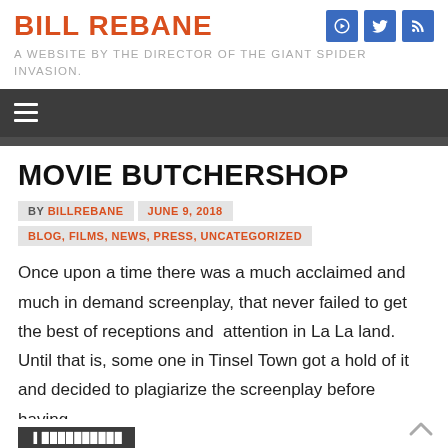BILL REBANE
A WEBSITE BY THE DIRECTOR OF THE GIANT SPIDER INVASION.
MOVIE BUTCHERSHOP
BY BILLREBANE   JUNE 9, 2018
BLOG, FILMS, NEWS, PRESS, UNCATEGORIZED
Once upon a time there was a much acclaimed and much in demand screenplay, that never failed to get the best of receptions and  attention in La La land. Until that is, some one in Tinsel Town got a hold of it and decided to plagiarize the screenplay before having …